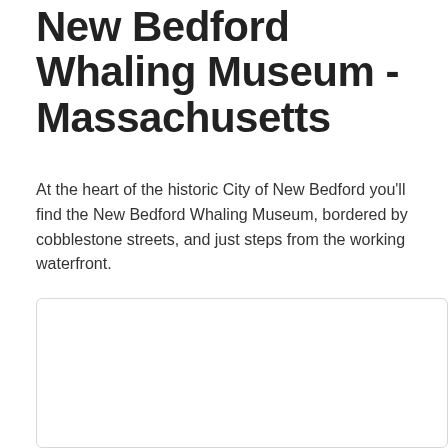New Bedford Whaling Museum - Massachusetts
At the heart of the historic City of New Bedford you'll find the New Bedford Whaling Museum, bordered by cobblestone streets, and just steps from the working waterfront.
[Figure (photo): White/blank image placeholder box with rounded corners and light gray border]